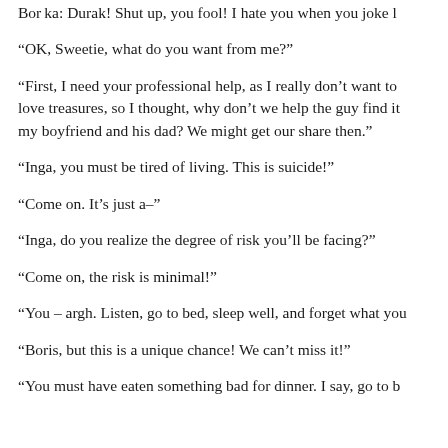Bor ka: Durak! Shut up, you fool! I hate you when you joke l
“OK, Sweetie, what do you want from me?”
“First, I need your professional help, as I really don’t want to love treasures, so I thought, why don’t we help the guy find it my boyfriend and his dad? We might get our share then.”
“Inga, you must be tired of living. This is suicide!”
“Come on. It’s just a–”
“Inga, do you realize the degree of risk you’ll be facing?”
“Come on, the risk is minimal!”
“You – argh. Listen, go to bed, sleep well, and forget what you
“Boris, but this is a unique chance! We can’t miss it!”
“You must have eaten something bad for dinner. I say, go to b